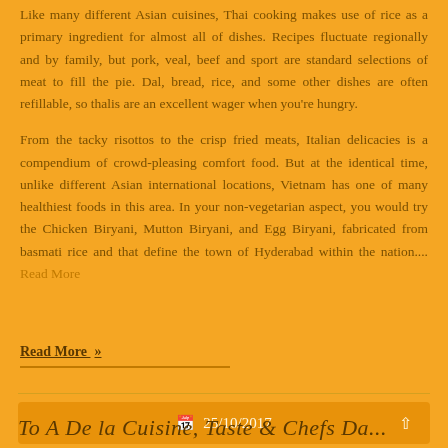Like many different Asian cuisines, Thai cooking makes use of rice as a primary ingredient for almost all of dishes. Recipes fluctuate regionally and by family, but pork, veal, beef and sport are standard selections of meat to fill the pie. Dal, bread, rice, and some other dishes are often refillable, so thalis are an excellent wager when you're hungry.
From the tacky risottos to the crisp fried meats, Italian delicacies is a compendium of crowd-pleasing comfort food. But at the identical time, unlike different Asian international locations, Vietnam has one of many healthiest foods in this area. In your non-vegetarian aspect, you would try the Chicken Biryani, Mutton Biryani, and Egg Biryani, fabricated from basmati rice and that define the town of Hyderabad within the nation.... Read More
Read More »
25/10/2017